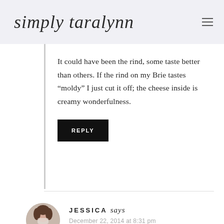simply taralynn
It could have been the rind, some taste better than others. If the rind on my Brie tastes “moldy” I just cut it off; the cheese inside is creamy wonderfulness.
REPLY
JESSICA says
December 22, 2014 at 8:31 pm